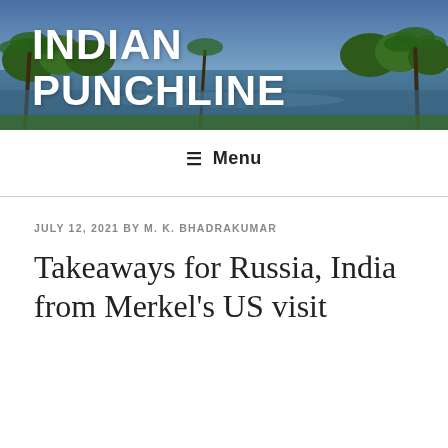[Figure (photo): Tropical coastal landscape with palm trees, water, and greenery serving as the blog header background image]
INDIAN PUNCHLINE
☰ Menu
JULY 12, 2021 BY M. K. BHADRAKUMAR
Takeaways for Russia, India from Merkel's US visit